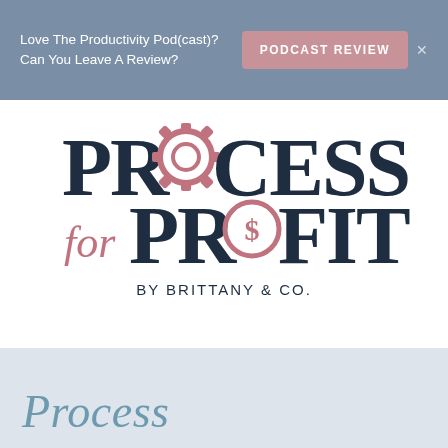Love The Productivity Pod(cast)? Can You Leave A Review?
[Figure (logo): Process for Profit by Brittany & Co. logo — dark navy serif text 'PROCESS' with a gear icon replacing the O, cursive pink 'for' and 'PROFIT' in dark navy with a dollar sign circle replacing the O, subtitle 'BY BRITTANY & CO.']
[Figure (other): Hamburger menu icon — three horizontal dark lines]
Process